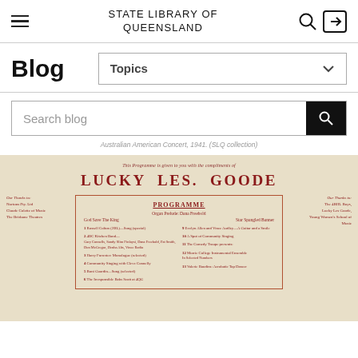STATE LIBRARY OF QUEENSLAND
Blog
Topics
Search blog
Australian American Concert, 1941. (SLQ collection)
[Figure (photo): Vintage programme pamphlet for 'Lucky Les. Goode' featuring a Programme section with organ prelude, national anthems, and various performance items listed in red text on aged cream paper.]